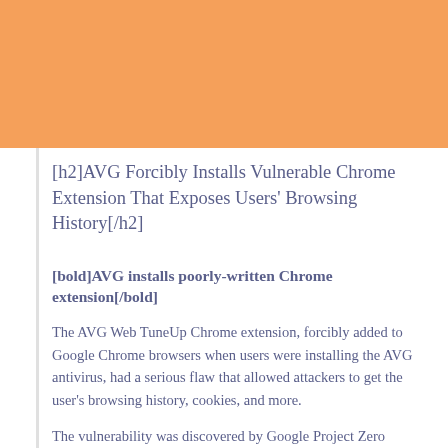[Figure (other): Orange decorative header bar]
[h2]AVG Forcibly Installs Vulnerable Chrome Extension That Exposes Users' Browsing History[/h2]
[bold]AVG installs poorly-written Chrome extension[/bold]
The AVG Web TuneUp Chrome extension, forcibly added to Google Chrome browsers when users were installing the AVG antivirus, had a serious flaw that allowed attackers to get the user's browsing history, cookies, and more.
The vulnerability was discovered by Google Project Zero researcher, Tavis Ormandy, who worked with AVG for the